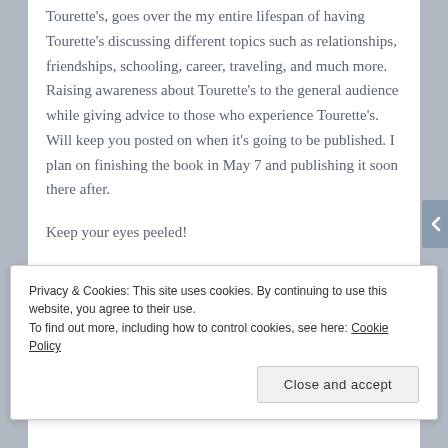Tourette's, goes over the my entire lifespan of having Tourette's discussing different topics such as relationships, friendships, schooling, career, traveling, and much more. Raising awareness about Tourette's to the general audience while giving advice to those who experience Tourette's. Will keep you posted on when it's going to be published. I plan on finishing the book in May 7 and publishing it soon there after.
Keep your eyes peeled!
Privacy & Cookies: This site uses cookies. By continuing to use this website, you agree to their use.
To find out more, including how to control cookies, see here: Cookie Policy